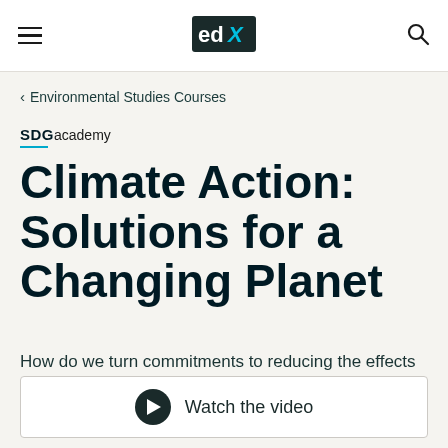edX
< Environmental Studies Courses
[Figure (logo): SDG Academy logo with 'SDG' in bold uppercase and 'academy' in lighter weight, with a teal underline beneath SDG]
Climate Action: Solutions for a Changing Planet
How do we turn commitments to reducing the effects of climate change into action?
Watch the video